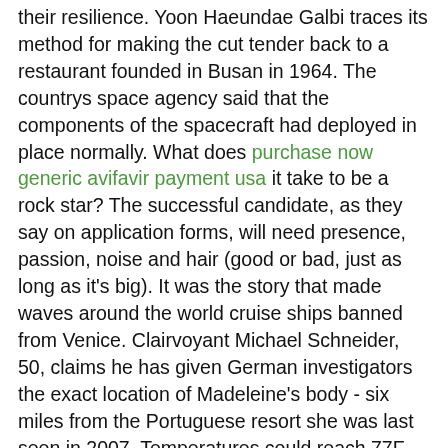their resilience. Yoon Haeundae Galbi traces its method for making the cut tender back to a restaurant founded in Busan in 1964. The countrys space agency said that the components of the spacecraft had deployed in place normally. What does purchase now generic avifavir payment usa it take to be a rock star? The successful candidate, as they say on application forms, will need presence, passion, noise and hair (good or bad, just as long as it's big). It was the story that made waves around the world cruise ships banned from Venice. Clairvoyant Michael Schneider, 50, claims he has given German investigators the exact location of Madeleine's body - six miles from the Portuguese resort she was last seen in 2007. Temperatures could reach 77F (25C) in the South East of England next week as schoolchildren enjoy half-term, andthere are increasing hopes of a flaming June delestrogen uae following a washout May. States are building more dedicated highway crossings for animals. That means fewer collisions and a lot of animal videos. You can freeze the aubergine and spiced lamb mix for a speedy meal A 10-year-old boy was shot in his stomach and died and a 29-year-old man was injured after an alleged argument with a neighbor on Saturday night. Telecom giants Virgin Media